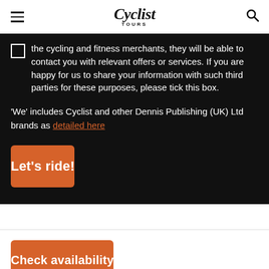Cyclist Tours
the cycling and fitness merchants, they will be able to contact you with relevant offers or services. If you are happy for us to share your information with such third parties for these purposes, please tick this box.
'We' includes Cyclist and other Dennis Publishing (UK) Ltd brands as detailed here
Let's ride!
Check availability